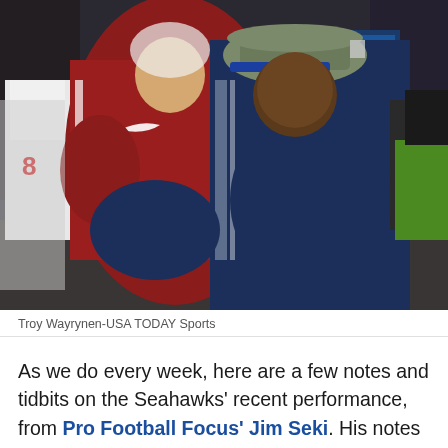[Figure (photo): Two NFL players embracing/hugging after a game. One player is wearing an Arizona Cardinals white uniform (number 8 visible in background), the other is wearing a Seattle Seahawks navy blue uniform. The Seahawks player wears a camo cap with a blue brim. Multiple other players and crew visible in the background.]
Troy Wayrynen-USA TODAY Sports
As we do every week, here are a few notes and tidbits on the Seahawks' recent performance, from Pro Football Focus' Jim Seki. His notes in italics, and my comments follow.